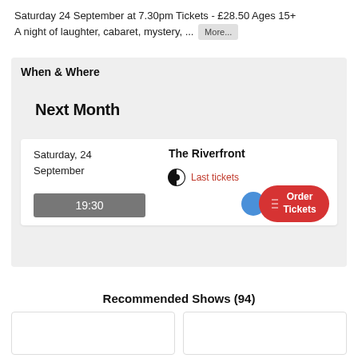Saturday 24 September at 7.30pm Tickets - £28.50 Ages 15+
A night of laughter, cabaret, mystery, ... More...
When & Where
Next Month
Saturday, 24
September
The Riverfront
Last tickets
19:30
Order Tickets
Recommended Shows (94)